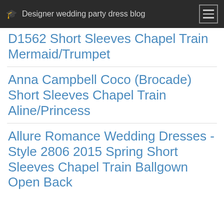Designer wedding party dress blog
D1562 Short Sleeves Chapel Train Mermaid/Trumpet
Anna Campbell Coco (Brocade) Short Sleeves Chapel Train Aline/Princess
Allure Romance Wedding Dresses - Style 2806 2015 Spring Short Sleeves Chapel Train Ballgown Open Back